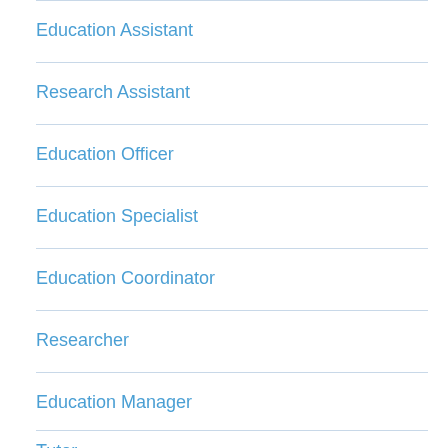Education Assistant
Research Assistant
Education Officer
Education Specialist
Education Coordinator
Researcher
Education Manager
Tutor